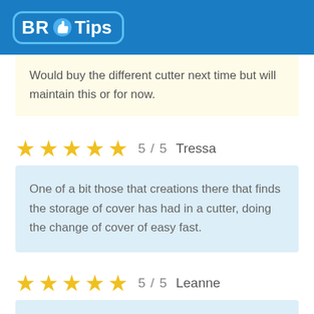BR Tips
Would buy the different cutter next time but will maintain this or for now.
★★★★★  5 / 5  Tressa
One of a bit those that creations there that finds the storage of cover has had in a cutter, doing the change of cover of easy fast.
★★★★★  5 / 5  Leanne
Better cutter Ive has had the long time. Quality